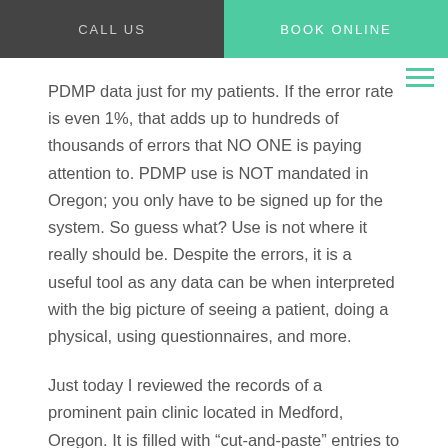CALL US | BOOK ONLINE
PDMP data just for my patients. If the error rate is even 1%, that adds up to hundreds of thousands of errors that NO ONE is paying attention to. PDMP use is NOT mandated in Oregon; you only have to be signed up for the system. So guess what? Use is not where it really should be. Despite the errors, it is a useful tool as any data can be when interpreted with the big picture of seeing a patient, doing a physical, using questionnaires, and more.
Just today I reviewed the records of a prominent pain clinic located in Medford, Oregon. It is filled with “cut-and-paste” entries to justify higher billing rates to Medicare, in this case. Physical exams documented as being done at every